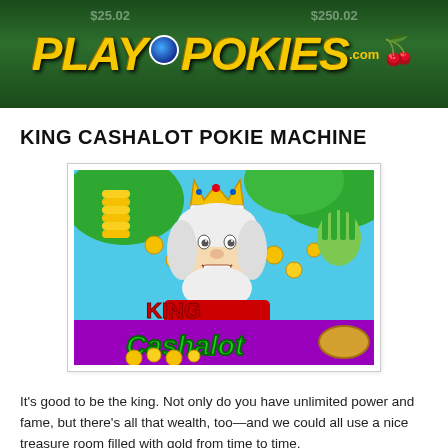[Figure (logo): PlayPokies.com logo on dark green banner background with money amounts $25.02 and $250.02 visible]
KING CASHALOT POKIE MACHINE
[Figure (illustration): King Cashalot slot machine game artwork showing a cartoon king with white beard wearing crown, surrounded by gold coins and cash, with 'KING Cashalot' text logo]
It's good to be the king. Not only do you have unlimited power and fame, but there's all that wealth, too—and we could all use a nice treasure room filled with gold from time to time.